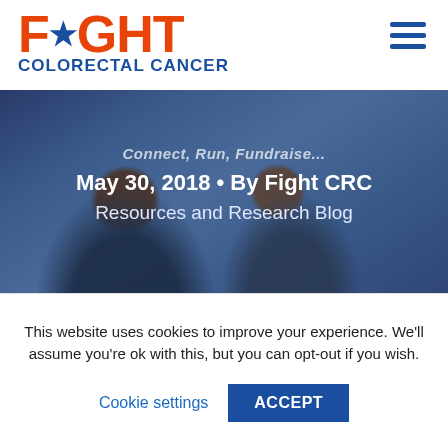[Figure (logo): Fight Colorectal Cancer logo with orange FIGHT text and blue star, blue COLORECTAL CANCER subtitle]
[Figure (illustration): Hamburger menu icon (three horizontal blue lines) in top right corner]
[Figure (photo): Two women smiling together, photo used as hero banner for blog post]
May 30, 2018 • By Fight CRC
Resources and Research Blog
This website uses cookies to improve your experience. We'll assume you're ok with this, but you can opt-out if you wish.
Cookie settings
ACCEPT